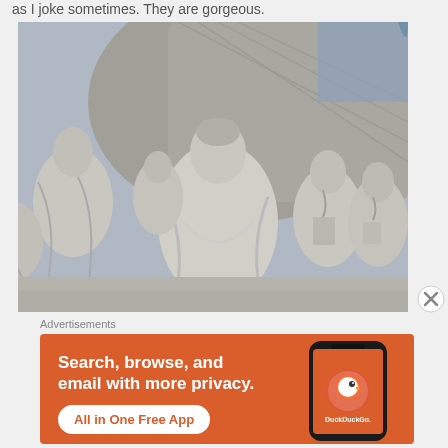as I joke sometimes. They are gorgeous.
[Figure (photo): Close-up photograph of stone relief sculpture showing multiple robed figures carved in high relief on what appears to be the Monument to the Discoveries in Lisbon, Portugal. Figures are dressed in medieval garments and appear to be explorers or navigators.]
Advertisements
[Figure (screenshot): DuckDuckGo advertisement banner with orange background showing text 'Search, browse, and email with more privacy. All in One Free App' with DuckDuckGo logo on a smartphone mockup.]